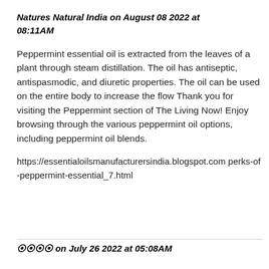Natures Natural India on August 08 2022 at 08:11AM
Peppermint essential oil is extracted from the leaves of a plant through steam distillation. The oil has antiseptic, antispasmodic, and diuretic properties. The oil can be used on the entire body to increase the flow Thank you for visiting the Peppermint section of The Living Now! Enjoy browsing through the various peppermint oil options, including peppermint oil blends.
https://essentialoilsmanufacturersindia.blogspot.com perks-of-peppermint-essential_7.html
???? on July 26 2022 at 05:08AM